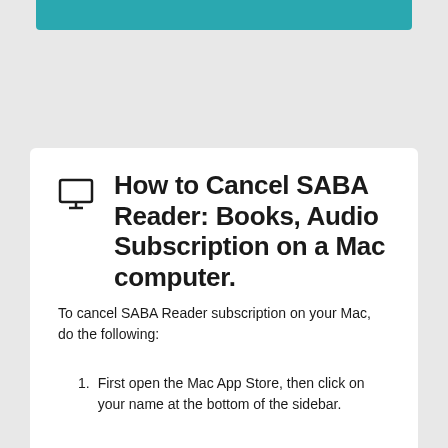[Figure (other): Teal/turquoise colored header bar at the top of the page]
🖥 How to Cancel SABA Reader: Books, Audio Subscription on a Mac computer.
To cancel SABA Reader subscription on your Mac, do the following:
1. First open the Mac App Store, then click on your name at the bottom of the sidebar.